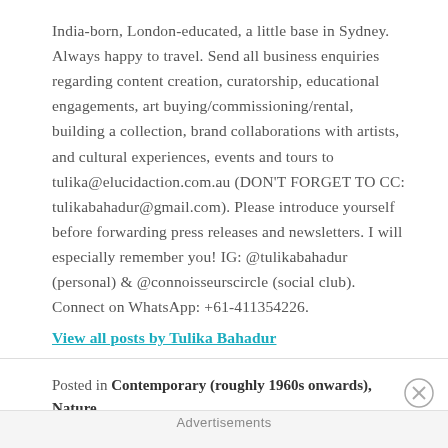India-born, London-educated, a little base in Sydney. Always happy to travel. Send all business enquiries regarding content creation, curatorship, educational engagements, art buying/commissioning/rental, building a collection, brand collaborations with artists, and cultural experiences, events and tours to tulika@elucidaction.com.au (DON'T FORGET TO CC: tulikabahadur@gmail.com). Please introduce yourself before forwarding press releases and newsletters. I will especially remember you! IG: @tulikabahadur (personal) & @connoisseurscircle (social club). Connect on WhatsApp: +61-411354226.
View all posts by Tulika Bahadur
Posted in Contemporary (roughly 1960s onwards), Nature,
Advertisements